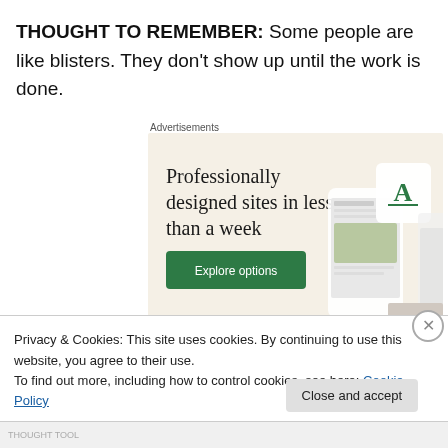THOUGHT TO REMEMBER: Some people are like blisters. They don't show up until the work is done.
Advertisements
[Figure (illustration): Advertisement banner for a website design service. Beige/cream background with large text reading 'Professionally designed sites in less than a week' and a green 'Explore options' button. Right side shows mockup images of websites on mobile devices.]
Privacy & Cookies: This site uses cookies. By continuing to use this website, you agree to their use.
To find out more, including how to control cookies, see here: Cookie Policy
Close and accept